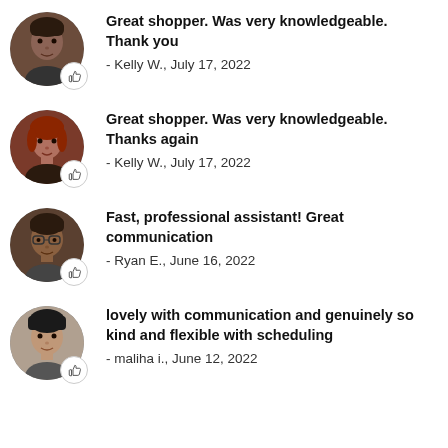[Figure (photo): Circular avatar photo of a young man, with a thumbs up badge]
Great shopper. Was very knowledgeable. Thank you
- Kelly W., July 17, 2022
[Figure (photo): Circular avatar photo of a woman with red hair, with a thumbs up badge]
Great shopper. Was very knowledgeable. Thanks again
- Kelly W., July 17, 2022
[Figure (photo): Circular avatar photo of a woman with glasses, with a thumbs up badge]
Fast, professional assistant! Great communication
- Ryan E., June 16, 2022
[Figure (photo): Circular avatar photo of a young person, with a thumbs up badge]
lovely with communication and genuinely so kind and flexible with scheduling
- maliha i., June 12, 2022